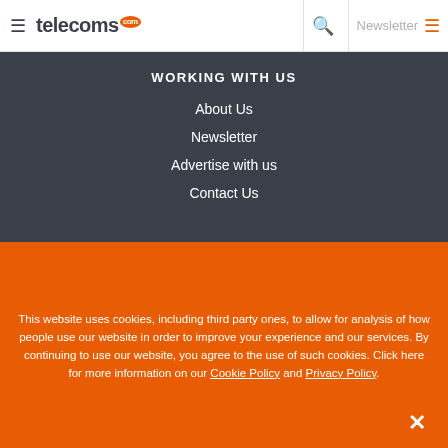telecoms.com — Newsletter
WORKING WITH US
About Us
Newsletter
Advertise with us
Contact Us
This website uses cookies, including third party ones, to allow for analysis of how people use our website in order to improve your experience and our services. By continuing to use our website, you agree to the use of such cookies. Click here for more information on our Cookie Policy and Privacy Policy.